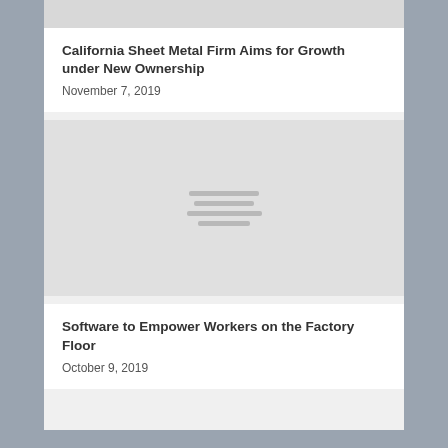[Figure (photo): Gray placeholder image at top of card]
California Sheet Metal Firm Aims for Growth under New Ownership
November 7, 2019
[Figure (photo): Gray placeholder image with text lines in center]
Software to Empower Workers on the Factory Floor
October 9, 2019